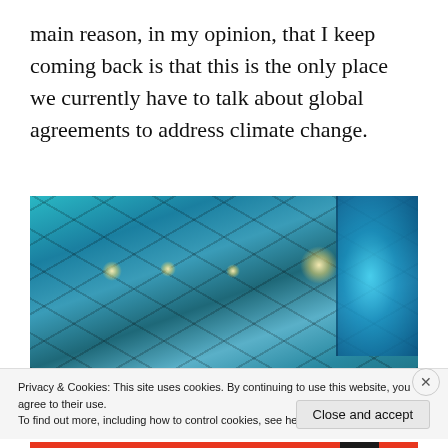main reason, in my opinion, that I keep coming back is that this is the only place we currently have to talk about global agreements to address climate change.
[Figure (photo): Interior view of a large conference hall or exhibition space with a geometric glass ceiling lit with teal/cyan light, stage lights, and a screen visible on the right side.]
Privacy & Cookies: This site uses cookies. By continuing to use this website, you agree to their use.
To find out more, including how to control cookies, see here: Cookie Policy